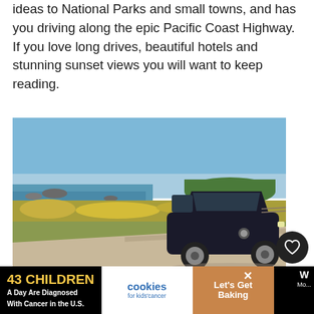ideas to National Parks and small towns, and has you driving along the epic Pacific Coast Highway. If you love long drives, beautiful hotels and stunning sunset views you will want to keep reading.
[Figure (photo): A black Mercedes-Benz SUV parked on a coastal road with yellow wildflowers, rocky shore, and blue sky in the background. Watermark reads: © Outside Suburbia]
Our daughter goes to University in California
43 CHILDREN A Day Are Diagnosed With Cancer in the U.S.  cookies for kids' cancer  Let's Get Baking